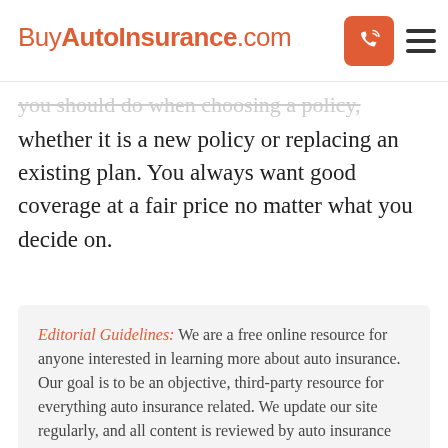BuyAutoInsurance.com
you should do when choosing a policy, whether it is a new policy or replacing an existing plan. You always want good coverage at a fair price no matter what you decide on.
Editorial Guidelines: We are a free online resource for anyone interested in learning more about auto insurance. Our goal is to be an objective, third-party resource for everything auto insurance related. We update our site regularly, and all content is reviewed by auto insurance experts.